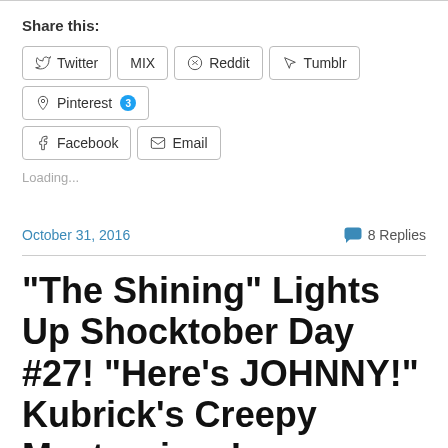Share this:
Twitter
MIX
Reddit
Tumblr
Pinterest 3
Facebook
Email
Loading...
October 31, 2016
8 Replies
“The Shining” Lights Up Shocktober Day #27! “Here’s JOHNNY!” Kubrick’s Creepy Masterpiece!